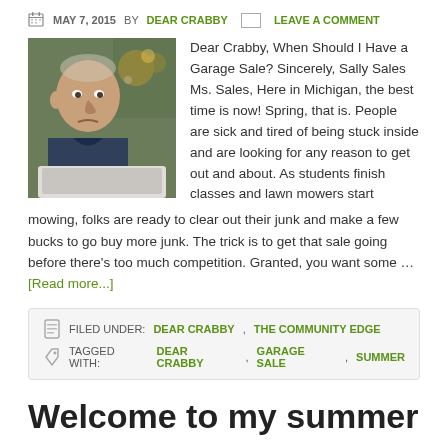MAY 7, 2015 BY DEAR CRABBY  LEAVE A COMMENT
[Figure (photo): Elderly man with stern expression sitting in front of a laptop, with plants and decorative items in the background.]
Dear Crabby, When Should I Have a Garage Sale? Sincerely, Sally Sales Ms. Sales, Here in Michigan, the best time is now! Spring, that is. People are sick and tired of being stuck inside and are looking for any reason to get out and about. As students finish classes and lawn mowers start mowing, folks are ready to clear out their junk and make a few bucks to go buy more junk. The trick is to get that sale going before there's too much competition. Granted, you want some … [Read more...]
FILED UNDER: DEAR CRABBY, THE COMMUNITY EDGE
TAGGED WITH: DEAR CRABBY, GARAGE SALE, SUMMER
Welcome to my summer